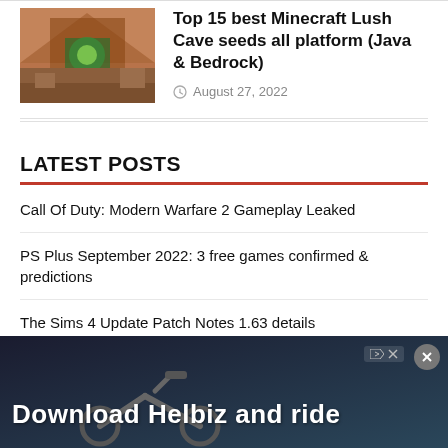[Figure (photo): Minecraft Lush Cave thumbnail image showing a cave opening with orange/brown terrain]
Top 15 best Minecraft Lush Cave seeds all platform (Java & Bedrock)
August 27, 2022
LATEST POSTS
Call Of Duty: Modern Warfare 2 Gameplay Leaked
PS Plus September 2022: 3 free games confirmed & predictions
The Sims 4 Update Patch Notes 1.63 details
The International 11 Dota 2 Battle Pass 2022 Release Date & new Arcana looks
[Figure (photo): Advertisement banner: Download Helbiz and ride — dark background with scooter/bike image]